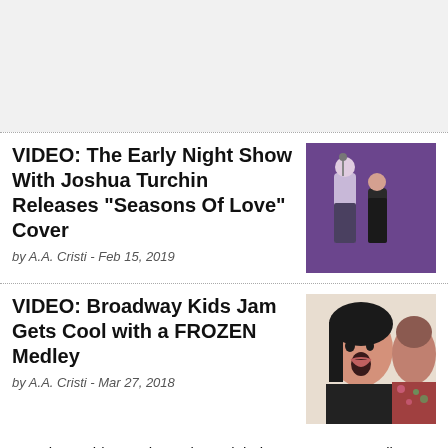[Figure (other): Advertisement placeholder area (light gray background)]
VIDEO: The Early Night Show With Joshua Turchin Releases “Seasons Of Love” Cover
by A.A. Cristi - Feb 15, 2019
[Figure (photo): Two girls singing on a stage with purple lighting, microphone visible]
VIDEO: Broadway Kids Jam Gets Cool with a FROZEN Medley
by A.A. Cristi - Mar 27, 2018
[Figure (photo): Close-up of a young woman singing, with another person in background wearing a floral top]
Broadway Kids Jam has released their new 'Frozen' medley, featuring songs from the hit movie and Broadway musical. This jam features Carly